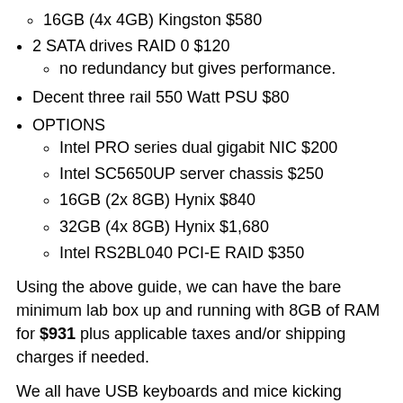16GB (4x 4GB) Kingston $580
2 SATA drives RAID 0 $120
no redundancy but gives performance.
Decent three rail 550 Watt PSU $80
OPTIONS
Intel PRO series dual gigabit NIC $200
Intel SC5650UP server chassis $250
16GB (2x 8GB) Hynix $840
32GB (4x 8GB) Hynix $1,680
Intel RS2BL040 PCI-E RAID $350
Using the above guide, we can have the bare minimum lab box up and running with 8GB of RAM for $931 plus applicable taxes and/or shipping charges if needed.
We all have USB keyboards and mice kicking around or can be had for pennies. Plus, a local system builder would